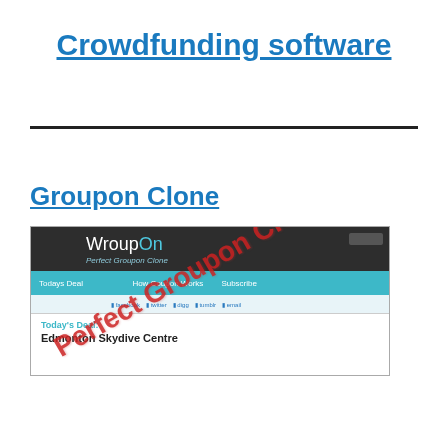Crowdfunding software
Groupon Clone
[Figure (screenshot): Screenshot of WroupOn - Perfect Groupon Clone website, showing the header with navigation links (Todays Deal, How Coupon Works, Subscribe), social sharing buttons (Facebook, Twitter, Digg, Tumblr, email), and content area showing Today's Deal: Edmonton Skydive Centre. A red diagonal watermark reads 'Perfect Groupon Clone'.]